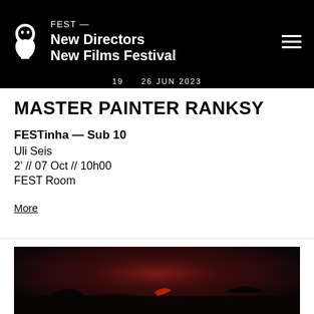FEST — New Directors New Films Festival
19 — 26 JUN 2023
MASTER PAINTER RANKSY
FESTinha — Sub 10
Uli Seis
2' // 07 Oct // 10h00
FEST Room
More
[Figure (photo): Dark cinematic still image with red and black tones, showing shadowy figures and a red glow in the background]